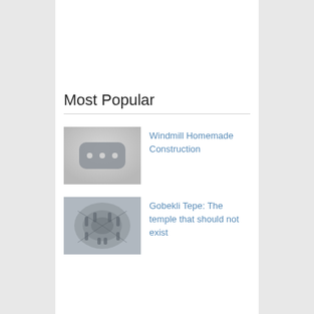Most Popular
[Figure (screenshot): Thumbnail placeholder with three dots icon on light gray background]
Windmill Homemade Construction
[Figure (photo): Aerial view of Gobekli Tepe ancient stone circle ruins]
Gobekli Tepe: The temple that should not exist